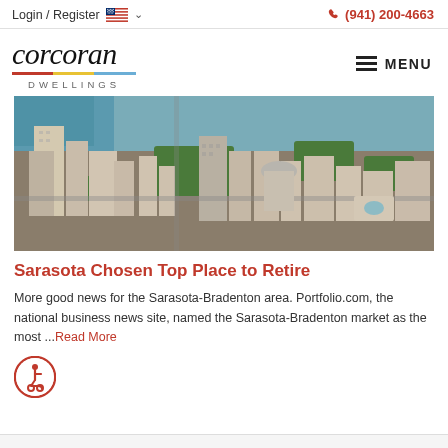Login / Register    (941) 200-4663
[Figure (logo): Corcoran Dwellings logo with italic script text and tricolor underline]
[Figure (photo): Aerial view of Sarasota city downtown with buildings, streets, waterfront and trees]
Sarasota Chosen Top Place to Retire
More good news for the Sarasota-Bradenton area. Portfolio.com, the national business news site, named the Sarasota-Bradenton market as the most ...Read More
[Figure (illustration): Wheelchair accessibility icon — circular red bordered badge with person in wheelchair]